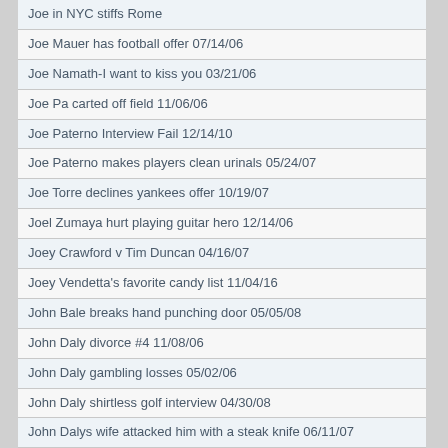Joe in NYC stiffs Rome
Joe Mauer has football offer 07/14/06
Joe Namath-I want to kiss you 03/21/06
Joe Pa carted off field 11/06/06
Joe Paterno Interview Fail 12/14/10
Joe Paterno makes players clean urinals 05/24/07
Joe Torre declines yankees offer 10/19/07
Joel Zumaya hurt playing guitar hero 12/14/06
Joey Crawford v Tim Duncan 04/16/07
Joey Vendetta's favorite candy list 11/04/16
John Bale breaks hand punching door 05/05/08
John Daly divorce #4 11/08/06
John Daly gambling losses 05/02/06
John Daly shirtless golf interview 04/30/08
John Dalys wife attacked him with a steak knife 06/11/07
John Dalys wife refutes charges 06/12/07
John Hughes Dies 08/07/09
John in NY had a decent enough call to keep his Golden Ticket 07/16/18
John L Smith coaches are screwing it up 11/01/06
John L Smith needs to be fired 10/02/06
John L Smith reset 09/08/06